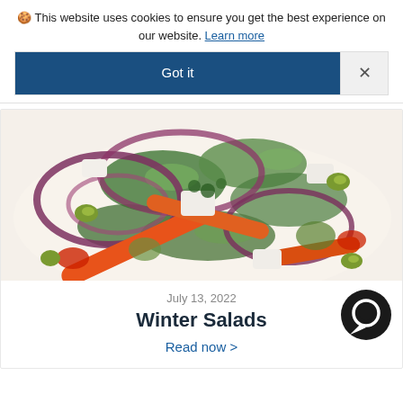🍪 This website uses cookies to ensure you get the best experience on our website. Learn more
Got it
[Figure (photo): Close-up photo of a colorful winter salad with red onion rings, green leaves, orange pepper strips, olives, and chunks of white cheese on a white background.]
July 13, 2022
Winter Salads
Read now >